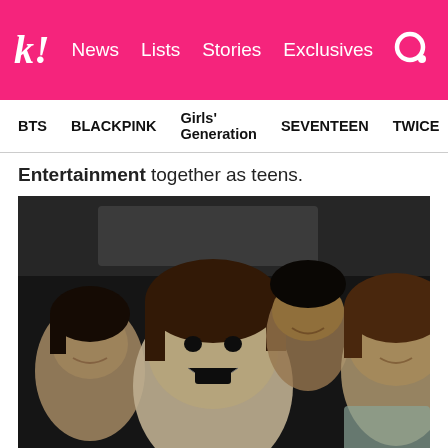K! News Lists Stories Exclusives
BTS   BLACKPINK   Girls' Generation   SEVENTEEN   TWICE
Entertainment together as teens.
[Figure (photo): Four young men taking a selfie inside a car, smiling and making expressions. The person in the foreground has their mouth wide open in excitement, while three others are visible behind them.]